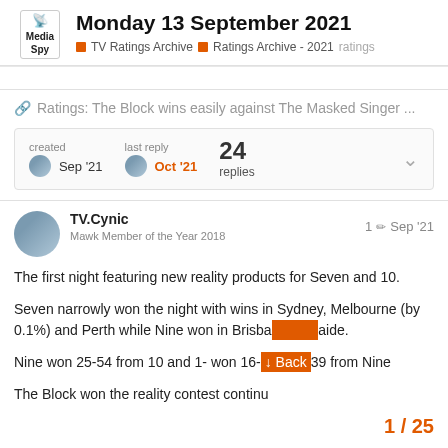Monday 13 September 2021 — TV Ratings Archive > Ratings Archive - 2021 > ratings
Ratings: The Block wins easily against The Masked Singer ...
| created | last reply | replies |
| --- | --- | --- |
| Sep '21 | Oct '21 | 24 |
TV.Cynic
Mawk Member of the Year 2018
1 ✏ Sep '21
The first night featuring new reality products for Seven and 10.
Seven narrowly won the night with wins in Sydney, Melbourne (by 0.1%) and Perth while Nine won in Brisbane and Adelaide.
Nine won 25-54 from 10 and 1- won 16-39 from Nine
The Block won the reality contest continu